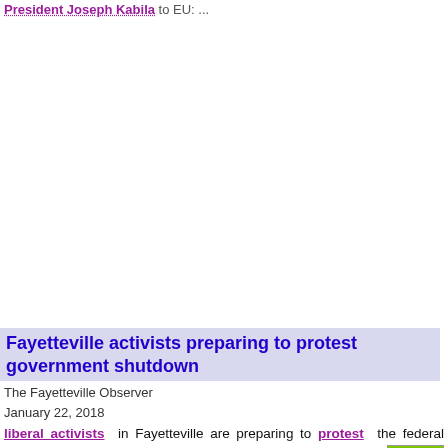President Joseph Kabila to EU: ...
Fayetteville activists preparing to protest government shutdown
The Fayetteville Observer
January 22, 2018
liberal activists in Fayetteville are preparing to protest the federal government shutdown and call for the United States to ... "DACA" immigrants to stay in the country. Nine gathered in downtown Fayetteville on Sunday to write letters and make protest signs that they